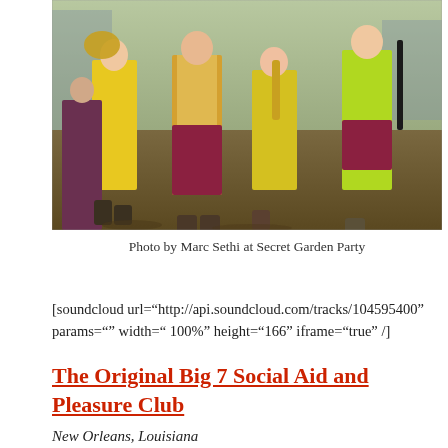[Figure (photo): Outdoor festival photo showing musicians in colorful yellow and maroon outfits marching and playing instruments including saxophones and clarinets at what appears to be the Secret Garden Party festival.]
Photo by Marc Sethi at Secret Garden Party
[soundcloud url="http://api.soundcloud.com/tracks/104595400" params="" width=" 100%" height="166" iframe="true" /]
The Original Big 7 Social Aid and Pleasure Club
New Orleans, Louisiana